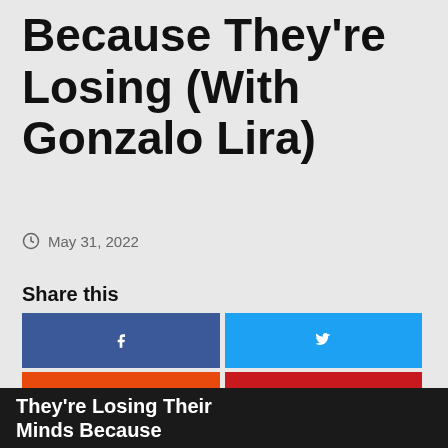Because They're Losing (With Gonzalo Lira)
May 31, 2022
Share this
[Figure (infographic): Social media share buttons grid: Facebook (dark blue), Twitter (light blue), StumbleUpon (orange), Pinterest (dark red), Tumblr (black), LinkedIn (medium blue), WhatsApp (green full-width)]
They're Losing Their Minds Because